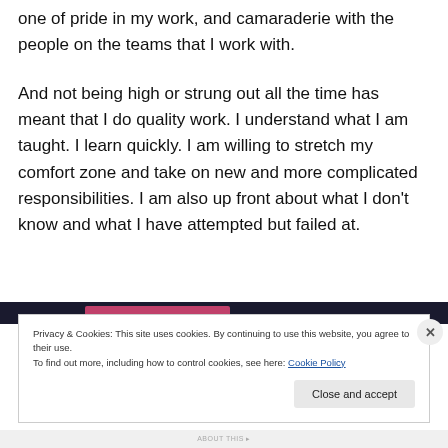one of pride in my work, and camaraderie with the people on the teams that I work with.
And not being high or strung out all the time has meant that I do quality work. I understand what I am taught. I learn quickly. I am willing to stretch my comfort zone and take on new and more complicated responsibilities. I am also up front about what I don't know and what I have attempted but failed at.
Privacy & Cookies: This site uses cookies. By continuing to use this website, you agree to their use.
To find out more, including how to control cookies, see here: Cookie Policy